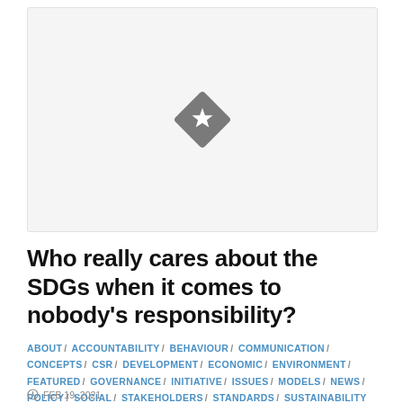[Figure (illustration): Light gray placeholder image box with a dark gray diamond/star badge icon centered in the upper portion]
Who really cares about the SDGs when it comes to nobody's responsibility?
ABOUT / ACCOUNTABILITY / BEHAVIOUR / COMMUNICATION / CONCEPTS / CSR / DEVELOPMENT / ECONOMIC / ENVIRONMENT / FEATURED / GOVERNANCE / INITIATIVE / ISSUES / MODELS / NEWS / POLICY / SOCIAL / STAKEHOLDERS / STANDARDS / SUSTAINABILITY
FEB 19, 2021